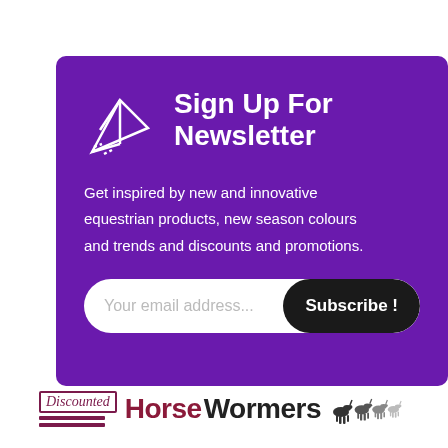[Figure (infographic): Purple newsletter signup banner with paper plane icon, title 'Sign Up For Newsletter', descriptive text, email input field, and Subscribe button]
Sign Up For Newsletter
Get inspired by new and innovative equestrian products, new season colours and trends and discounts and promotions.
[Figure (logo): Discounted Horse Wormers logo with italic 'Discounted' text in maroon box, two horizontal maroon lines, 'Horse Wormers' text in maroon/dark color, and running horses silhouette]